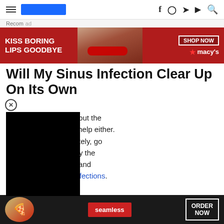Navigation header with hamburger menu, logo bar, and social icons (f, Instagram, Twitter, YouTube, Search)
[Figure (illustration): Advertisement banner: red background with 'KISS BORING LIPS GOODBYE' text, woman face with red lips, SHOP NOW button, and Macy's star logo]
Recom  ad
Will My Sinus Infection Clear Up On Its Own
mmon cold arent fun, but the up afterwards doesnt help either. mmon cold, unfortunately, go frequently is caused by the e caused by allergies and bacterial and fungal infections.
Sinus infections are caused when the cavities around your nasal passages became inflamed and swollen. eventu build u
[Figure (illustration): Advertisement banner: dark background with pizza image, Seamless red logo, ORDER NOW button, and CLOSE button]